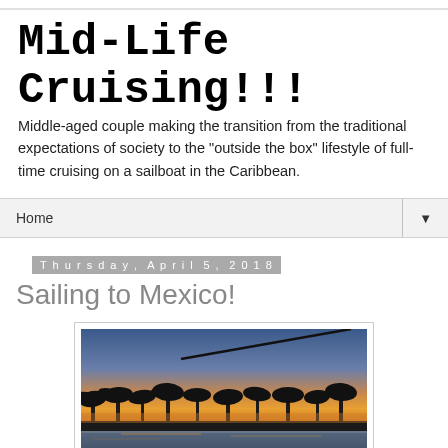Mid-Life Cruising!!!
Middle-aged couple making the transition from the traditional expectations of society to the "outside the box" lifestyle of full-time cruising on a sailboat in the Caribbean.
Home ▼
Thursday, April 5, 2018
Sailing to Mexico!
[Figure (photo): Sunset photo showing silhouettes of palm trees against an orange and blue sky, with water in the foreground reflecting the light. A boat rigging line is visible in the upper portion of the image.]